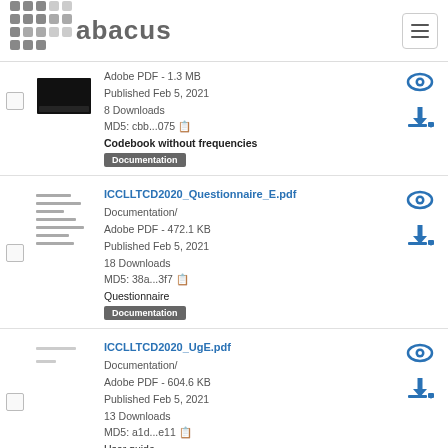abacus logo and navigation
Adobe PDF - 1.3 MB
Published Feb 5, 2021
8 Downloads
MD5: cbb...075
Codebook without frequencies
Documentation
ICCLLTCD2020_Questionnaire_E.pdf
Documentation/
Adobe PDF - 472.1 KB
Published Feb 5, 2021
18 Downloads
MD5: 38a...3f7
Questionnaire
Documentation
ICCLLTCD2020_UgE.pdf
Documentation/
Adobe PDF - 604.6 KB
Published Feb 5, 2021
13 Downloads
MD5: a1d...e11
User guide
Documentation